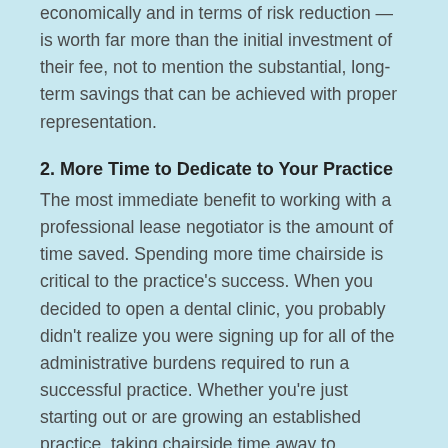economically and in terms of risk reduction — is worth far more than the initial investment of their fee, not to mention the substantial, long-term savings that can be achieved with proper representation.
2. More Time to Dedicate to Your Practice
The most immediate benefit to working with a professional lease negotiator is the amount of time saved. Spending more time chairside is critical to the practice's success. When you decided to open a dental clinic, you probably didn't realize you were signing up for all of the administrative burdens required to run a successful practice. Whether you're just starting out or are growing an established practice, taking chairside time away to